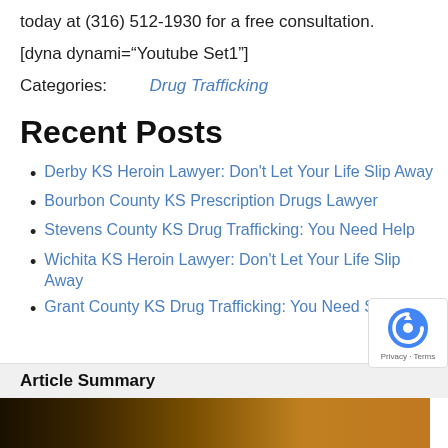today at (316) 512-1930 for a free consultation.
[dyna dynami="Youtube Set1"]
Categories:  Drug Trafficking
Recent Posts
Derby KS Heroin Lawyer: Don't Let Your Life Slip Away
Bourbon County KS Prescription Drugs Lawyer
Stevens County KS Drug Trafficking: You Need Help
Wichita KS Heroin Lawyer: Don't Let Your Life Slip Away
Grant County KS Drug Trafficking: You Need Support
Article Summary
[Figure (photo): Partial photo strip visible at bottom of page, dark/warm tones]